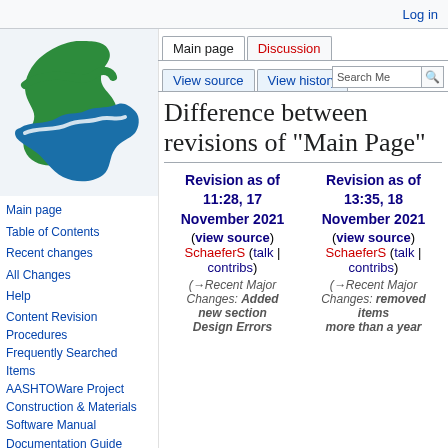[Figure (logo): Michigan state outline with green and blue wave logo]
Log in
Main page | Discussion | View source | View history | Search Me
Difference between revisions of "Main Page"
Main page
Table of Contents
Recent changes
All Changes
Help
Content Revision Procedures
Frequently Searched Items
AASHTOWare Project Construction & Materials Software Manual
Documentation Guide
Division 1
Division 1 Supplemental
| Revision as of 11:28, 17 November 2021 | Revision as of 13:35, 18 November 2021 |
| --- | --- |
| (view source) | (view source) |
| SchaeferS (talk | contribs) | SchaeferS (talk | contribs) |
| (→Recent Major Changes: Added new section Design Errors | (→Recent Major Changes: removed items more than a year |